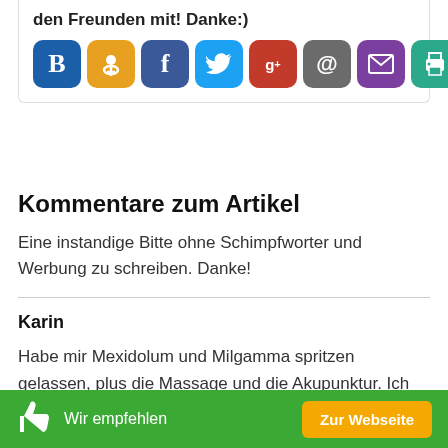[Figure (screenshot): Social share buttons row: B (BookMark), OK (Odnoklassniki), f (Facebook), Twitter bird, g+ (Google+), @ (email), envelope (mail), printer icon, plus button, and a count badge showing 152K]
Kommentare zum Artikel
Eine instandige Bitte ohne Schimpfworter und Werbung zu schreiben. Danke!
Karin
Habe mir Mexidolum und Milgamma spritzen gelassen, plus die Massage und die Akupunktur. Ich habe mich schon besser gefuhlt, danach aber alles vernachlassigt. Jetzt ist das Problem wieder zuruck.
Wir empfehlen   Zur Webseite